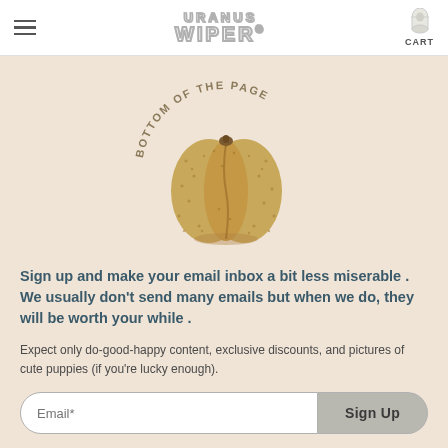URANUS WIPER® [hamburger menu] [CART]
[Figure (illustration): A kiwi fruit styled to look like a bottom/posterior, with curved text arching over it reading 'BOTTOM OF THE PAGE'. The kiwi is golden-brown and textured.]
Sign up and make your email inbox a bit less miserable . We usually don't send many emails but when we do, they will be worth your while .
Expect only do-good-happy content, exclusive discounts, and pictures of cute puppies (if you're lucky enough).
Email* [input field] Sign Up [button]